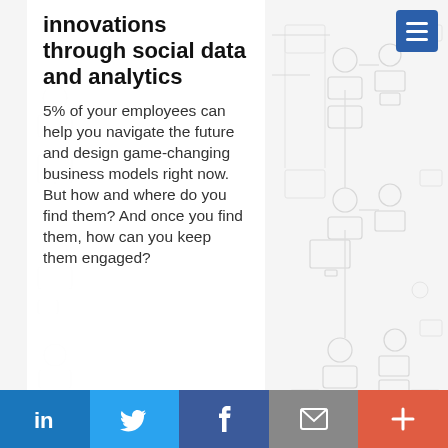[Figure (infographic): Light grey decorative background pattern made of interconnected people/user icons and rectangles forming a network diagram]
[Figure (other): Dark blue hamburger menu button (three horizontal lines) in the top right corner]
innovations through social data and analytics
5% of your employees can help you navigate the future and design game-changing business models right now. But how and where do you find them? And once you find them, how can you keep them engaged?
[Figure (infographic): Social sharing bar at bottom: LinkedIn (blue), Twitter (light blue), Facebook (dark blue), Email/envelope (grey), More/plus (red-orange)]